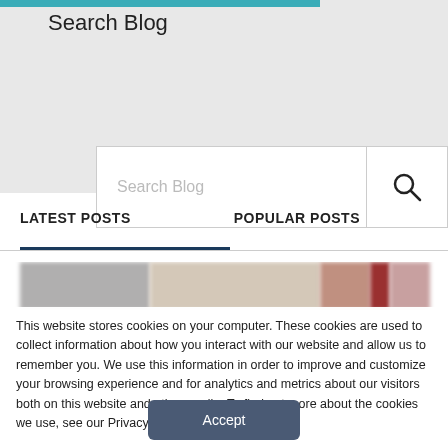Search Blog
[Figure (screenshot): Search blog input box with placeholder text 'Search Blog' and a magnifying glass search icon on the right]
LATEST POSTS
POPULAR POSTS
[Figure (photo): Blurred/pixelated horizontal image strip showing partial blog post thumbnail images]
This website stores cookies on your computer. These cookies are used to collect information about how you interact with our website and allow us to remember you. We use this information in order to improve and customize your browsing experience and for analytics and metrics about our visitors both on this website and other media. To find out more about the cookies we use, see our Privacy Policy.
Accept